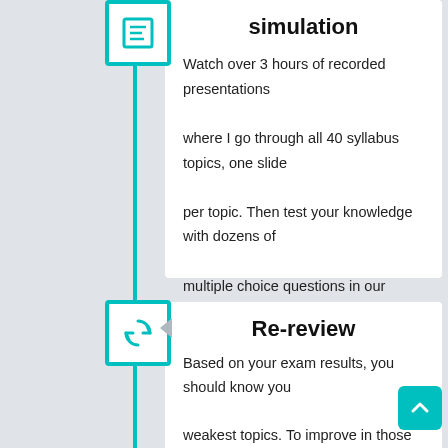[Figure (illustration): Teal vertical timeline line with icon boxes representing steps]
simulation
Watch over 3 hours of recorded presentations where I go through all 40 syllabus topics, one slide per topic. Then test your knowledge with dozens of multiple choice questions in our question pool.
Re-review
Based on your exam results, you should know your weakest topics. To improve in those areas, go back